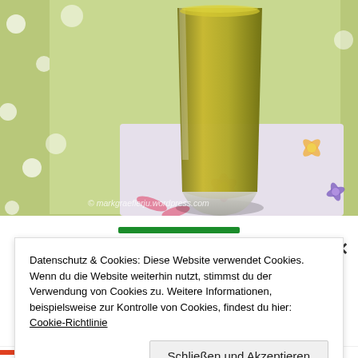[Figure (photo): A glass filled with a yellow-green smoothie drink, placed on a floral napkin on a green polka-dot surface. The glass has a clear base showing the liquid inside. A watermark reads © markgraeflerju.wordpress.com at the bottom of the photo.]
Datenschutz & Cookies: Diese Website verwendet Cookies. Wenn du die Website weiterhin nutzt, stimmst du der Verwendung von Cookies zu. Weitere Informationen, beispielsweise zur Kontrolle von Cookies, findest du hier: Cookie-Richtlinie
Schließen und Akzeptieren